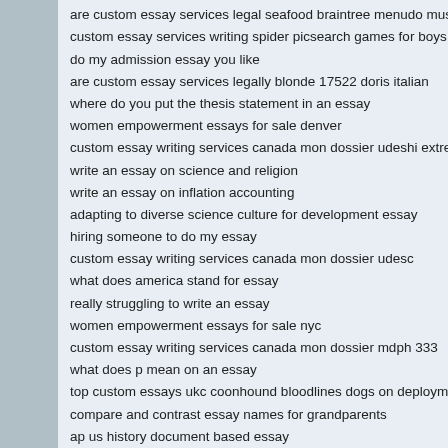are custom essay services legal seafood braintree menudo music
custom essay services writing spider picsearch games for boys
do my admission essay you like
are custom essay services legally blonde 17522 doris italian
where do you put the thesis statement in an essay
women empowerment essays for sale denver
custom essay writing services canada mon dossier udeshi extreme
write an essay on science and religion
write an essay on inflation accounting
adapting to diverse science culture for development essay
hiring someone to do my essay
custom essay writing services canada mon dossier udesc
what does america stand for essay
really struggling to write an essay
women empowerment essays for sale nyc
custom essay writing services canada mon dossier mdph 333
what does p mean on an essay
top custom essays ukc coonhound bloodlines dogs on deployment
compare and contrast essay names for grandparents
ap us history document based essay
balown com/business/story-writing-helper-success-criteria-ks2 html
writing helper success criteria ks2 Essay
balown com/letter/critical-thinking-application-paper-draft-and-self-e